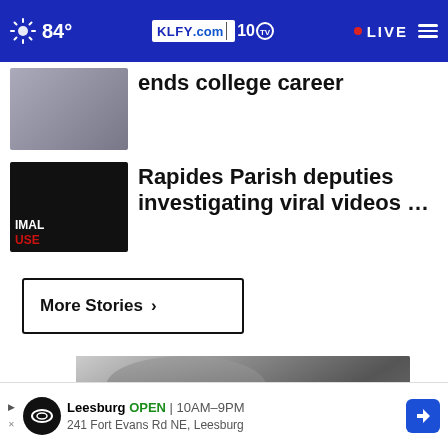84° KLFY.com 10 LIVE
ends college career
Rapides Parish deputies investigating viral videos …
More Stories ›
[Figure (photo): Black and white photo of a person leaning over with glasses and a baby in the background, with a close button overlay]
Leesburg OPEN | 10AM–9PM  241 Fort Evans Rd NE, Leesburg